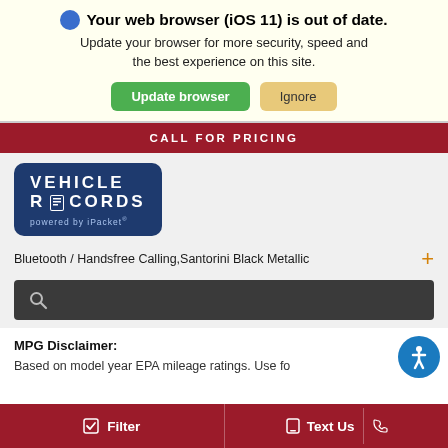Your web browser (iOS 11) is out of date. Update your browser for more security, speed and the best experience on this site.
Update browser
Ignore
CALL FOR PRICING
[Figure (logo): Vehicle Records powered by iPacket logo — dark blue rounded rectangle with white text VEHICLE RECORDS and 'powered by iPacket®' in smaller text]
Bluetooth / Handsfree Calling,Santorini Black Metallic
MPG Disclaimer:
Based on model year EPA mileage ratings. Use fo